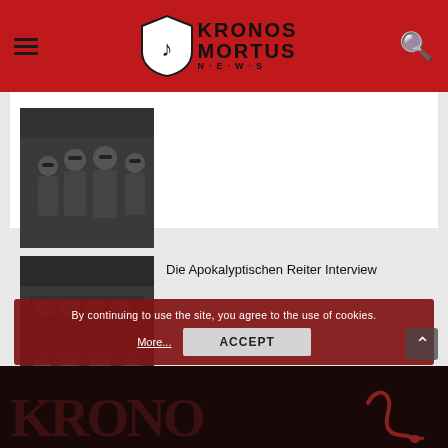Kronos Mortus News
[Figure (photo): Black and white photo of a metal band group, 4 members in dark clothing standing together]
[Figure (photo): Black and white photo of Die Apokalyptischen Reiter band members standing in front of a bus]
Die Apokalyptischen Reiter Interview
By continuing to use the site, you agree to the use of cookies.
More...
ACCEPT
[Figure (logo): Kronos Mortus News large dark footer logo with snake illustration]